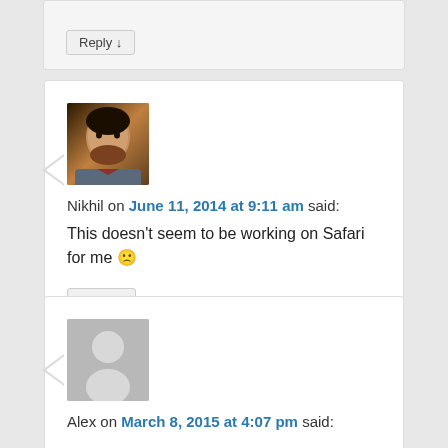Reply ↓
[Figure (photo): Avatar photo of Nikhil, a young man with beard]
Nikhil on June 11, 2014 at 9:11 am said:
This doesn't seem to be working on Safari for me 🙁
Reply ↓
[Figure (photo): Default grey avatar silhouette placeholder]
Alex on March 8, 2015 at 4:07 pm said: